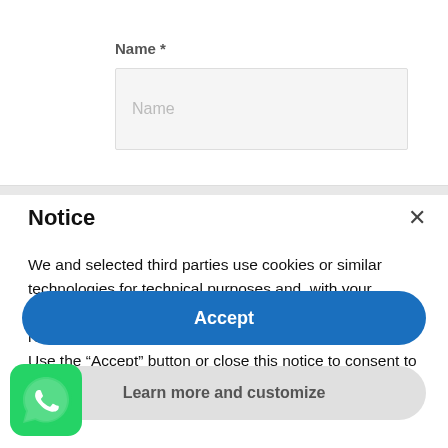Name *
[Figure (screenshot): Name input field with placeholder text 'Name' on a light gray background]
Notice
We and selected third parties use cookies or similar technologies for technical purposes and, with your consent, for other purposes. Denying consent may make related features unavailable.
Use the “Accept” button or close this notice to consent to the use of such technologies.
Accept
Learn more and customize
[Figure (logo): WhatsApp green circular logo icon]